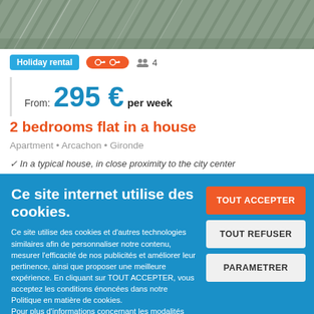[Figure (photo): Top photo strip of a building exterior with stairs and greenery]
Holiday rental  🔑🔑  👥 4
From: 295 € per week
2 bedrooms flat in a house
Apartment • Arcachon • Gironde
✓ In a typical house, in close proximity to the city center
Ce site internet utilise des cookies.
Ce site utilise des cookies et d'autres technologies similaires afin de personnaliser notre contenu, mesurer l'efficacité de nos publicités et améliorer leur pertinence, ainsi que proposer une meilleure expérience. En cliquant sur TOUT ACCEPTER, vous acceptez les conditions énoncées dans notre Politique en matière de cookies.
Pour plus d'informations concernant les modalités d'utilisation des cookies, consultez notre politique de confidentialité.
Pour modifier vos préférences, vous devez mettre paramétrer vos préférences de cookies.
TOUT ACCEPTER
TOUT REFUSER
PARAMETRER